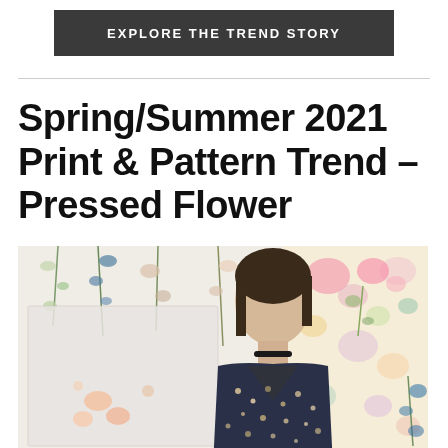EXPLORE THE TREND STORY
Spring/Summer 2021 Print & Pattern Trend – Pressed Flower
[Figure (photo): Fashion editorial composite image showing a model in a dark floral blazer with choker necklace, surrounded by pressed flower and botanical print backgrounds in soft watercolor tones]